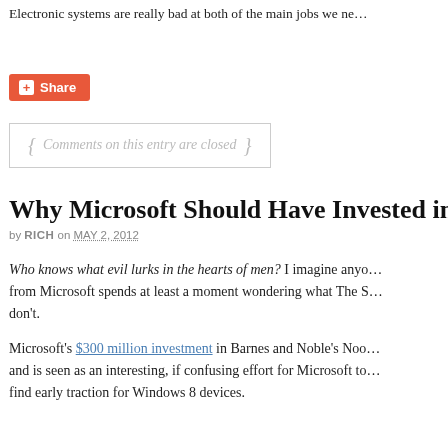Electronic systems are really bad at both of the main jobs we ne…
[Figure (other): Orange Share button with plus icon]
{ Comments on this entry are closed }
Why Microsoft Should Have Invested in Nook…
by RICH on MAY 2, 2012
Who knows what evil lurks in the hearts of men? I imagine anyo… from Microsoft spends at least a moment wondering what The S… don't.
Microsoft's $300 million investment in Barnes and Noble's Noo… and is seen as an interesting, if confusing effort for Microsoft to… find early traction for Windows 8 devices.